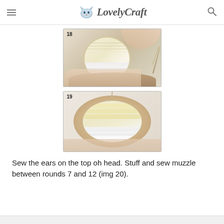LovelyCraft
[Figure (photo): Step 18: Hands holding a crocheted amigurumi head with yellow and white sections, surrounded by a brown ruffled border edge, with a needle and thread visible on the right side.]
[Figure (photo): Step 19: Hands holding a crocheted amigurumi head showing the full front view with yellow and white striped sections, surrounded by a brown ruffled border edge.]
Sew the ears on the top oh head. Stuff and sew muzzle between rounds 7 and 12 (img 20).